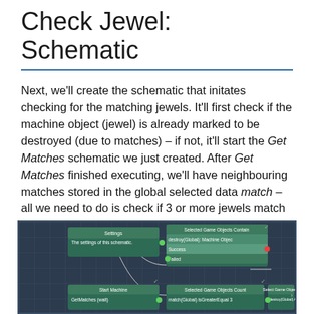Check Jewel: Schematic
Next, we'll create the schematic that initates checking for the matching jewels. It'll first check if the machine object (jewel) is already marked to be destroyed (due to matches) – if not, it'll start the Get Matches schematic we just created. After Get Matches finished executing, we'll have neighbouring matches stored in the global selected data match – all we need to do is check if 3 or more jewels match and mark them for destruction.
Create a new schematic and change the following settings.
[Figure (screenshot): Screenshot of a node-based schematic editor showing nodes: Settings / The settings of this schematic, Selected Game Objects Contain / destroy(Global): Machine Objec with Success and Failed outputs, Start Machine / GetMatches (wait), Selected Game Objects Count / match(Global) isGreaterEqual 3, and Select Game Objects / destroy(Global) Add: match(Glo. Nodes are connected with curved white lines on a dark grid background.]